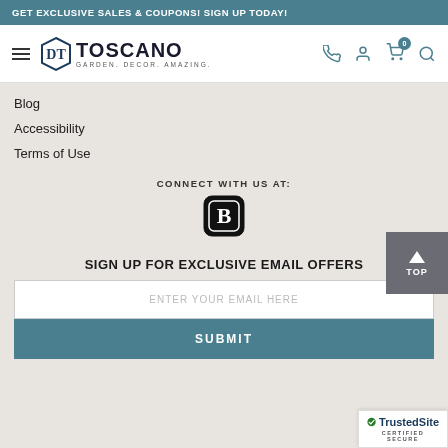GET EXCLUSIVE SALES & COUPONS! SIGN UP TODAY!
[Figure (logo): Design Toscano logo with diamond shield icon and tagline GARDEN. DECOR. AMAZING.]
Blog
Accessibility
Terms of Use
CONNECT WITH US AT:
[Figure (logo): Toscano social media icon - black rounded square with stylized DT logo]
SIGN UP FOR EXCLUSIVE EMAIL OFFERS
ENTER YOUR EMAIL HERE
SUBMIT
[Figure (logo): TrustedSite CERTIFIED SECURE badge]